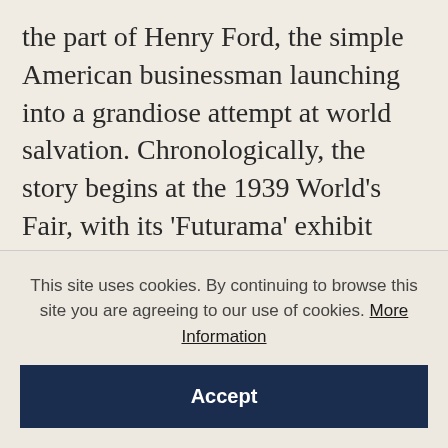the part of Henry Ford, the simple American businessman launching into a grandiose attempt at world salvation. Chronologically, the story begins at the 1939 World's Fair, with its 'Futurama' exhibit (showing the world as it was meant to be in 1960) and the Westinghouse Time Capsule which was buried in the earth, to be opened in the year 6939. Bud Middleton, the juvenile lead in a film advertising the World's Fair, became the teenage Pop Hobson's hero. Eventually Hobson fantasises that he had landed the Bud Middleton part in an
This site uses cookies. By continuing to browse this site you are agreeing to our use of cookies. More Information
Accept